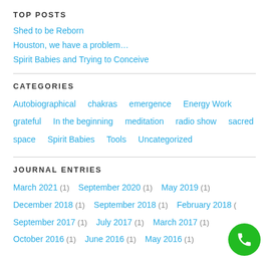TOP POSTS
Shed to be Reborn
Houston, we have a problem…
Spirit Babies and Trying to Conceive
CATEGORIES
Autobiographical   chakras   emergence   Energy Work   grateful   In the beginning   meditation   radio show   sacred space   Spirit Babies   Tools   Uncategorized
JOURNAL ENTRIES
March 2021 (1)   September 2020 (1)   May 2019 (1)   December 2018 (1)   September 2018 (1)   February 2018 (1)   September 2017 (1)   July 2017 (1)   March 2017 (1)   October 2016 (1)   June 2016 (1)   May 2016 (1)